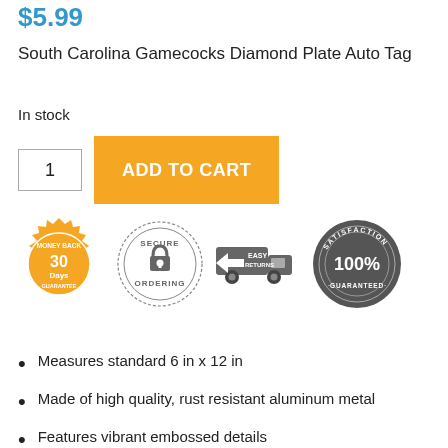$5.99
South Carolina Gamecocks Diamond Plate Auto Tag
In stock
[Figure (infographic): Trust badges row: 30 Days Money Back Guarantee (orange badge), Secure Ordering (gray circle with padlock), Easy Returns (gray truck icon), 100% Satisfaction Guaranteed (gray badge)]
Measures standard 6 in x 12 in
Made of high quality, rust resistant aluminum metal
Features vibrant embossed details
Pre-drilled bolt holes ready for immediate mounting